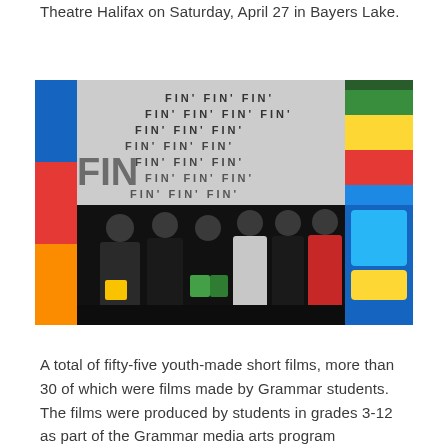Theatre Halifax on Saturday, April 27 in Bayers Lake.
[Figure (photo): Group of students posing in front of a 'FIN' branded banner backdrop at a film festival event. Students are holding colourful bags. There are promotional banners on the sides.]
A total of fifty-five youth-made short films, more than 30 of which were films made by Grammar students. The films were produced by students in grades 3-12 as part of the Grammar media arts program